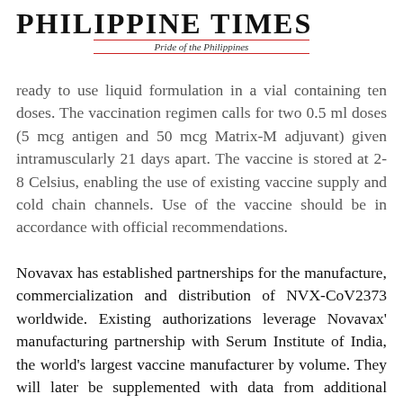Philippine Times
Pride of the Philippines
ready to use liquid formulation in a vial containing ten doses. The vaccination regimen calls for two 0.5 ml doses (5 mcg antigen and 50 mcg Matrix-M adjuvant) given intramuscularly 21 days apart. The vaccine is stored at 2- 8 Celsius, enabling the use of existing vaccine supply and cold chain channels. Use of the vaccine should be in accordance with official recommendations.
Novavax has established partnerships for the manufacture, commercialization and distribution of NVX-CoV2373 worldwide. Existing authorizations leverage Novavax' manufacturing partnership with Serum Institute of India, the world's largest vaccine manufacturer by volume. They will later be supplemented with data from additional manufacturing sites throughout Novavax' global